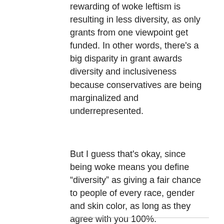rewarding of woke leftism is resulting in less diversity, as only grants from one viewpoint get funded. In other words, there's a big disparity in grant awards diversity and inclusiveness because conservatives are being marginalized and underrepresented.
But I guess that's okay, since being woke means you define “diversity” as giving a fair chance to people of every race, gender and skin color, as long as they agree with you 100%.